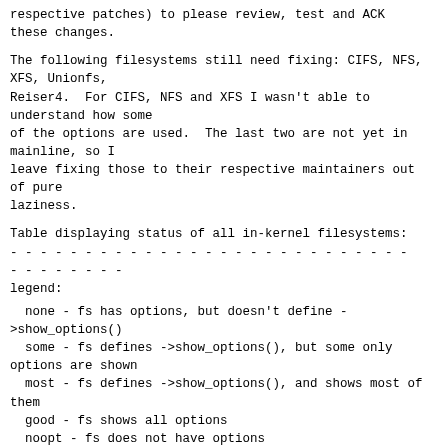respective patches) to please review, test and ACK
these changes.
The following filesystems still need fixing: CIFS, NFS,
XFS, Unionfs,
Reiser4.  For CIFS, NFS and XFS I wasn't able to
understand how some
of the options are used.  The last two are not yet in
mainline, so I
leave fixing those to their respective maintainers out
of pure
laziness.
Table displaying status of all in-kernel filesystems:
- - - - - - - - - - - - - - - - - - - - - - - - - - -
- - - - - - - -
legend:
none - fs has options, but doesn't define -
>show_options()
some - fs defines ->show_options(), but some only
options are shown
most - fs defines ->show_options(), and shows most of
them
good - fs shows all options
noopt - fs does not have options
patch - a patch will be posted
9p          good
adfs        patch